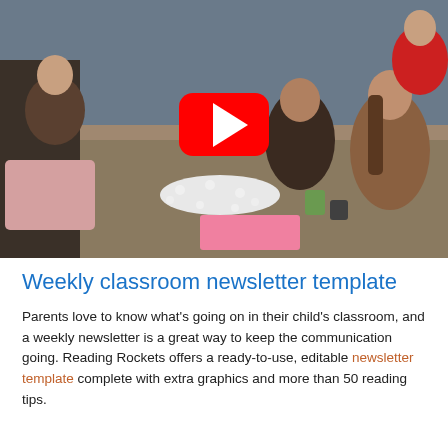[Figure (photo): A classroom scene showing adults (parents or students) sitting around a long table working on an activity with small white objects/tiles scattered on the table. A teacher in a red top stands at the far end. A YouTube play button overlay is centered on the image.]
Weekly classroom newsletter template
Parents love to know what's going on in their child's classroom, and a weekly newsletter is a great way to keep the communication going. Reading Rockets offers a ready-to-use, editable newsletter template complete with extra graphics and more than 50 reading tips.